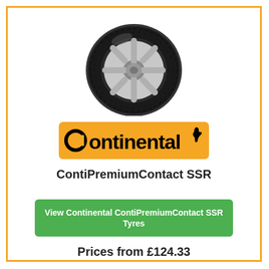[Figure (illustration): Black tyre with silver alloy wheel, angled view on white background]
[Figure (logo): Continental brand logo: orange/yellow rounded rectangle background with black bold text 'Continental' and a horse silhouette icon]
ContiPremiumContact SSR
View Continental ContiPremiumContact SSR Tyres
Prices from £124.33